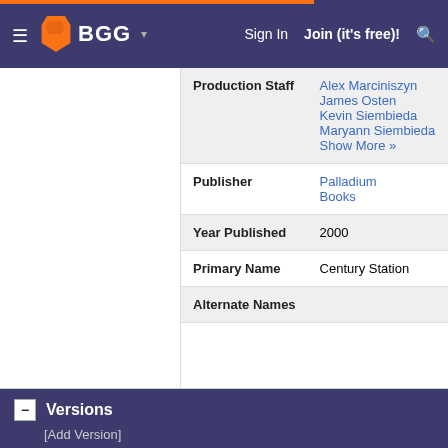BGG — Sign In  Join (it's free)!
| Field | Value |
| --- | --- |
| Production Staff | Alex Marciniszyn
James Osten
Kevin Siembieda
Maryann Siembieda
Show More » |
| Publisher | Palladium Books |
| Year Published | 2000 |
| Primary Name | Century Station |
| Alternate Names |  |
Versions
[Add Version]
Nick:  PDF version
Publisher: Palladium Books
Electronic (PDF, DOC, eBook, HTML, etc.)
Product
232 pages
Size: Letter
English